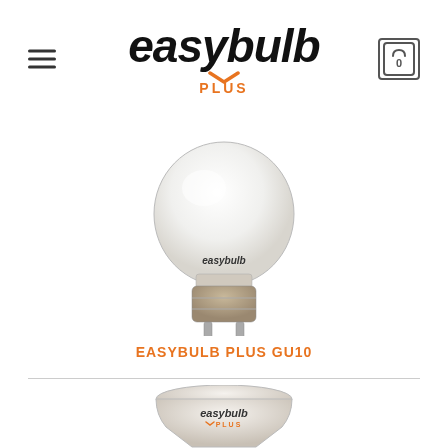easybulb PLUS
[Figure (photo): LED light bulb with bayonet cap, branded 'easybulb', white frosted globe]
EASYBULB PLUS GU10
[Figure (photo): GU10 spotlight bulb with easybulb PLUS branding, cream/white casing, partially cropped]